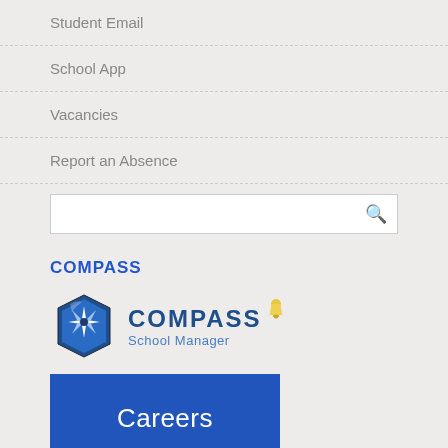Student Email
School App
Vacancies
Report an Absence
[Figure (screenshot): Search input box with a magnifying glass icon on the right]
COMPASS
[Figure (logo): Compass School Manager logo with a star compass badge icon and text 'COMPASS School Manager', with a small yellow bell icon]
[Figure (other): Blue rectangular button with white text 'Careers']